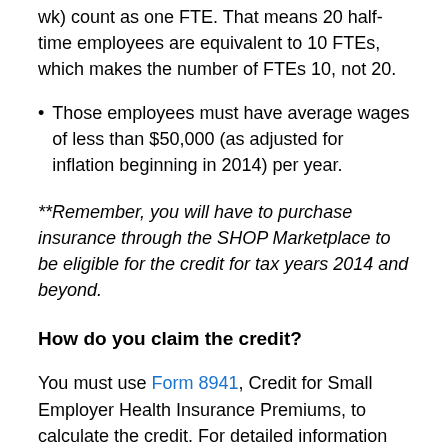wk) count as one FTE. That means 20 half-time employees are equivalent to 10 FTEs, which makes the number of FTEs 10, not 20.
Those employees must have average wages of less than $50,000 (as adjusted for inflation beginning in 2014) per year.
**Remember, you will have to purchase insurance through the SHOP Marketplace to be eligible for the credit for tax years 2014 and beyond.
How do you claim the credit?
You must use Form 8941, Credit for Small Employer Health Insurance Premiums, to calculate the credit. For detailed information on filling out this form, see the Instructions for Form 8941.